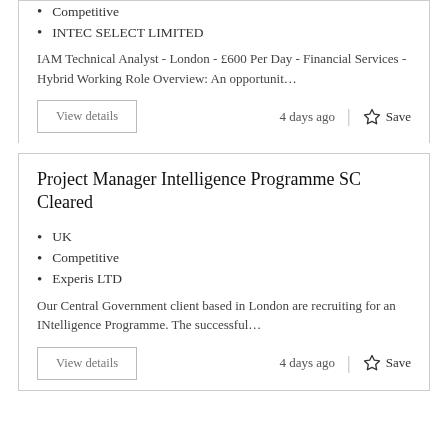Competitive
INTEC SELECT LIMITED
IAM Technical Analyst - London - £600 Per Day - Financial Services - Hybrid Working Role Overview: An opportunit…
4 days ago
Project Manager Intelligence Programme SC Cleared
UK
Competitive
Experis LTD
Our Central Government client based in London are recruiting for an INtelligence Programme. The successful…
4 days ago